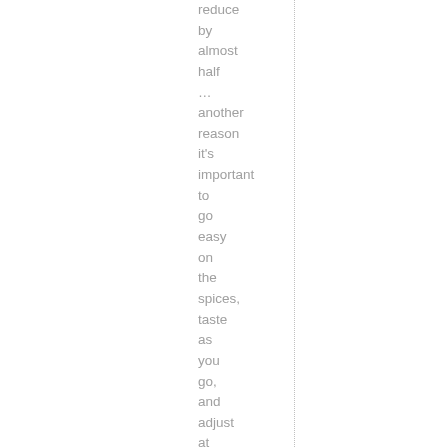reduce by almost half ... another reason it's important to go easy on the spices, taste as you go, and adjust at the end of the cooking